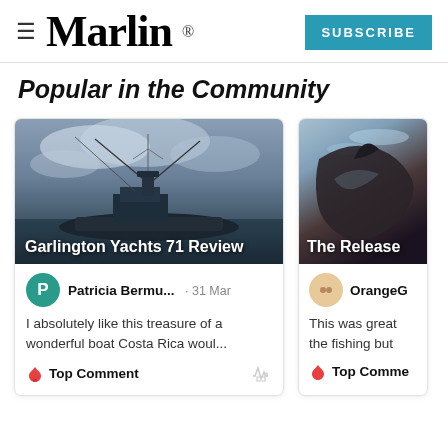Marlin
Popular in the Community
[Figure (screenshot): Card with boat image titled 'Garlington Yachts 71 Review' with comment by Patricia Bermu... on 31 Mar: 'I absolutely like this treasure of a wonderful boat Costa Rica woul...' with Top Comment badge]
[Figure (screenshot): Partial card with fish/marlin image titled 'The Release' with comment by OrangeG starting 'This was great the fishing but' with Top Comment badge]